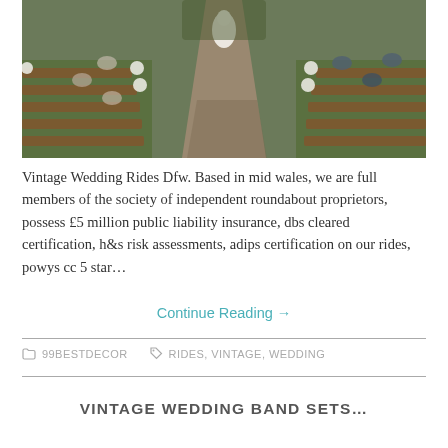[Figure (photo): Outdoor wedding ceremony in a church or garden with wooden pews lining an aisle, guests seated on both sides, a bride in white dress visible at the end of the aisle, decorated with white floral arrangements.]
Vintage Wedding Rides Dfw. Based in mid wales, we are full members of the society of independent roundabout proprietors, possess £5 million public liability insurance, dbs cleared certification, h&s risk assessments, adips certification on our rides, powys cc 5 star…
Continue Reading →
99BESTDECOR   RIDES, VINTAGE, WEDDING
VINTAGE WEDDING BAND SETS…